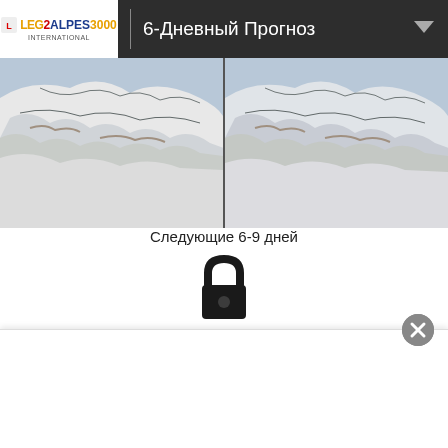6-Дневный Прогноз
[Figure (map): Two side-by-side satellite/snow map images of the Alps region showing snow cover]
Следующие 6-9 дней
[Figure (illustration): Lock icon indicating restricted access]
Sign up or Login to access